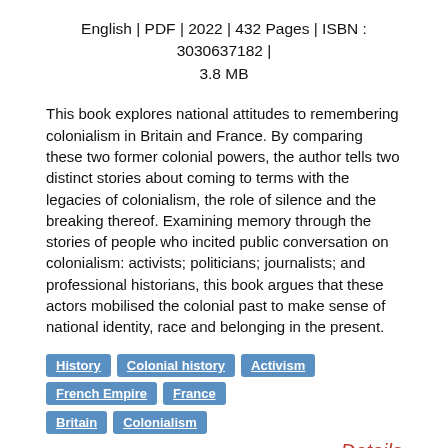English | PDF | 2022 | 432 Pages | ISBN : 3030637182 | 3.8 MB
This book explores national attitudes to remembering colonialism in Britain and France. By comparing these two former colonial powers, the author tells two distinct stories about coming to terms with the legacies of colonialism, the role of silence and the breaking thereof. Examining memory through the stories of people who incited public conversation on colonialism: activists; politicians; journalists; and professional historians, this book argues that these actors mobilised the colonial past to make sense of national identity, race and belonging in the present.
History
Colonial history
Activism
French Empire
France
Britain
Colonialism
Details